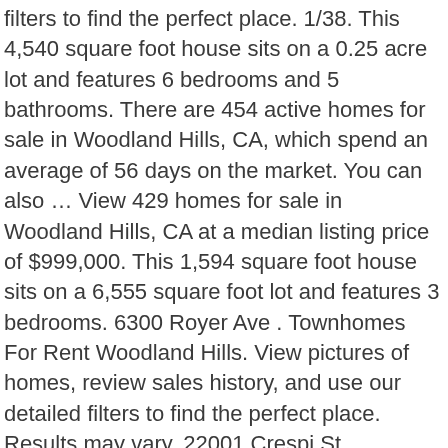filters to find the perfect place. 1/38. This 4,540 square foot house sits on a 0.25 acre lot and features 6 bedrooms and 5 bathrooms. There are 454 active homes for sale in Woodland Hills, CA, which spend an average of 56 days on the market. You can also … View 429 homes for sale in Woodland Hills, CA at a median listing price of $999,000. This 1,594 square foot house sits on a 6,555 square foot lot and features 3 bedrooms. 6300 Royer Ave . Townhomes For Rent Woodland Hills. View pictures of homes, review sales history, and use our detailed filters to find the perfect place. Results may vary. 22001 Crespi St, Woodland Hills, CA 91364 is a 1,100 sqft, 3 bed, 1.5 bath home. Remodeled and rare 3 Bedroom 2 bathrooms Top Floor condo in the heart of beautiful Calabasas! Instantly search and view photos of all homes for sale in